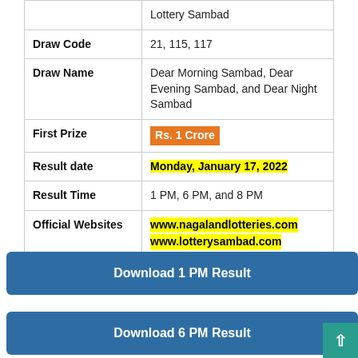| Field | Value |
| --- | --- |
|  | Lottery Sambad |
| Draw Code | 21, 115, 117 |
| Draw Name | Dear Morning Sambad, Dear Evening Sambad, and Dear Night Sambad |
| First Prize | Rs. 1 Crore |
| Result date | Monday, January 17, 2022 |
| Result Time | 1 PM, 6 PM, and 8 PM |
| Official Websites | www.nagalandlotteries.com
www.lotterysambad.com |
| Result Status | Announced |
Download 1 PM Result
Download 6 PM Result